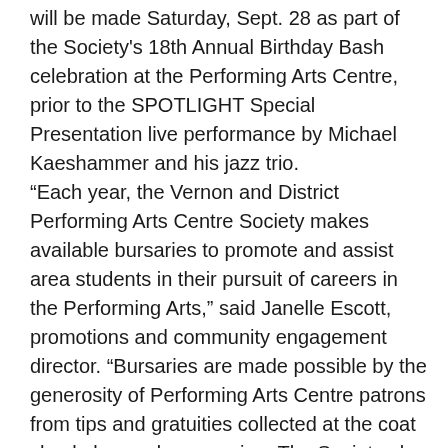will be made Saturday, Sept. 28 as part of the Society's 18th Annual Birthday Bash celebration at the Performing Arts Centre, prior to the SPOTLIGHT Special Presentation live performance by Michael Kaeshammer and his jazz trio.
“Each year, the Vernon and District Performing Arts Centre Society makes available bursaries to promote and assist area students in their pursuit of careers in the Performing Arts,” said Janelle Escott, promotions and community engagement director. “Bursaries are made possible by the generosity of Performing Arts Centre patrons from tips and gratuities collected at the coat check, bar and concession. The Society also accepts memorial gifts, sponsorships and donations specifically made for its Bursary Program.”